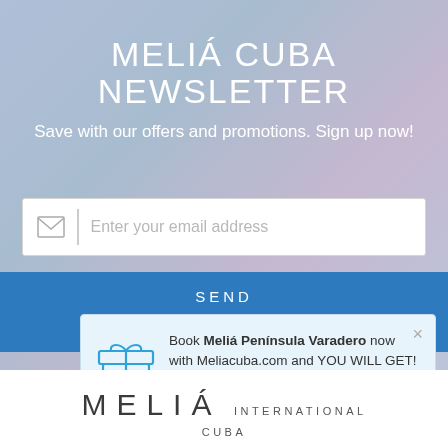MELIÁ CUBA NEWSLETTER
Save with our offers and promotions. Sign up now!
[Figure (screenshot): Email input field with envelope icon and 'Enter your email address' placeholder, followed by a blue SEND button]
Book Meliá Península Varadero now with Meliacuba.com and YOU WILL GET! ... See details >
[Figure (logo): MELIÁ INTERNATIONAL CUBA logo at the bottom of the page]